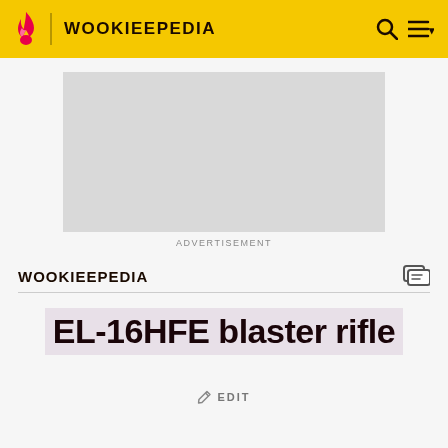WOOKIEEPEDIA
[Figure (other): Advertisement placeholder - grey rectangle]
ADVERTISEMENT
WOOKIEEPEDIA
EL-16HFE blaster rifle
EDIT